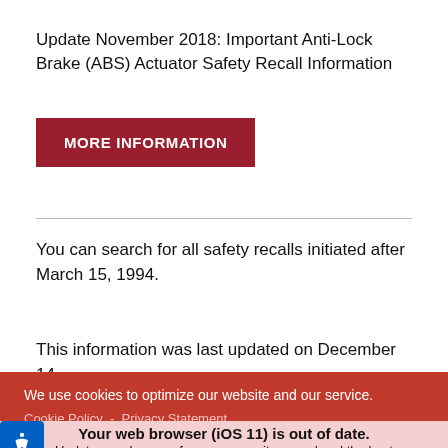Update November 2018: Important Anti-Lock Brake (ABS) Actuator Safety Recall Information
[Figure (other): Dark red button with white text reading MORE INFORMATION]
You can search for all safety recalls initiated after March 15, 1994.
This information was last updated on December 14,
We use cookies to optimize our website and our service. Cookie Policy - Privacy Statement
Your web browser (iOS 11) is out of date. Update your browser for more security, speed and the best experience on this site.